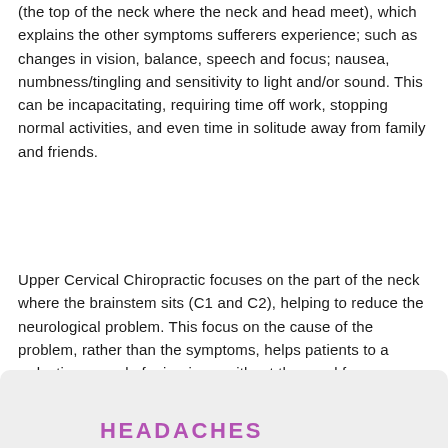(the top of the neck where the neck and head meet), which explains the other symptoms sufferers experience; such as changes in vision, balance, speech and focus; nausea, numbness/tingling and sensitivity to light and/or sound. This can be incapacitating, requiring time off work, stopping normal activities, and even time in solitude away from family and friends.
Upper Cervical Chiropractic focuses on the part of the neck where the brainstem sits (C1 and C2), helping to reduce the neurological problem. This focus on the cause of the problem, rather than the symptoms, helps patients to a reduction or end of migraines, without the need for medication.
HEADACHES